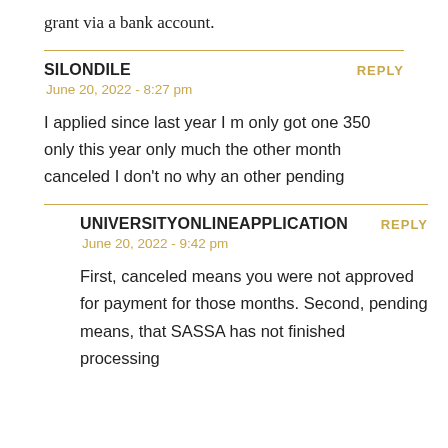grant via a bank account.
SILONDILE
June 20, 2022 - 8:27 pm
I applied since last year I m only got one 350 only this year only much the other month canceled I don't no why an other pending
UNIVERSITYONLINEAPPLICATION
June 20, 2022 - 9:42 pm
First, canceled means you were not approved for payment for those months. Second, pending means, that SASSA has not finished processing